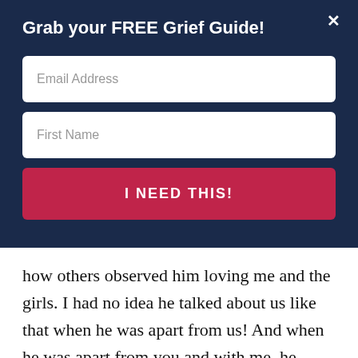Grab your FREE Grief Guide!
[Figure (screenshot): Modal popup with dark navy background containing a title 'Grab your FREE Grief Guide!', two input fields for Email Address and First Name, and a red 'I NEED THIS!' submit button, with an X close button in the top right corner.]
how others observed him loving me and the girls. I had no idea he talked about us like that when he was apart from us! And when he was apart from you and with me, he shared how much he loved you, dear brother: